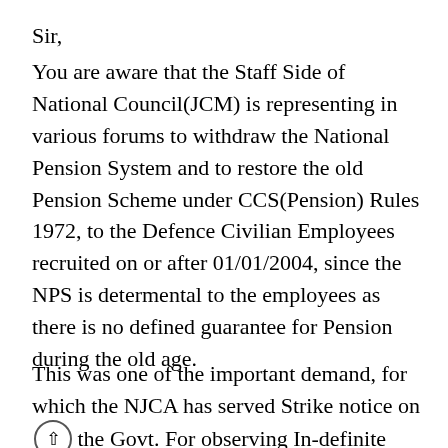Sir,
You are aware that the Staff Side of National Council(JCM) is representing in various forums to withdraw the National Pension System and to restore the old Pension Scheme under CCS(Pension) Rules 1972, to the Defence Civilian Employees recruited on or after 01/01/2004, since the NPS is determental to the employees as there is no defined guarantee for Pension during the old age.
This was one of the important demand, for which the NJCA has served Strike notice on the Govt. For observing In-definite Strike.